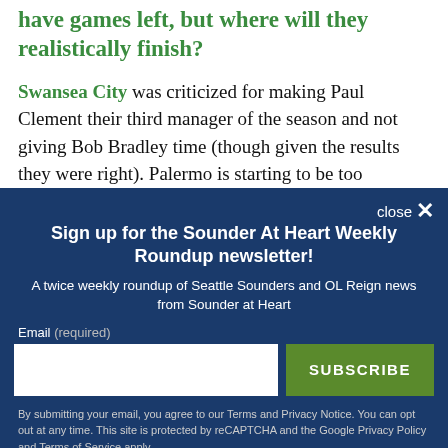have games left, but where will they realistically finish?
Swansea City was criticized for making Paul Clement their third manager of the season and not giving Bob Bradley time (though given the results they were right). Palermo is starting to be too aggressive with its
Sign up for the Sounder At Heart Weekly Roundup newsletter!
A twice weekly roundup of Seattle Sounders and OL Reign news from Sounder at Heart
Email (required)
SUBSCRIBE
By submitting your email, you agree to our Terms and Privacy Notice. You can opt out at any time. This site is protected by reCAPTCHA and the Google Privacy Policy and Terms of Service apply.